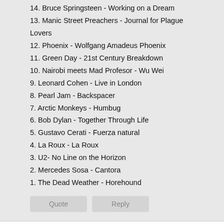14. Bruce Springsteen - Working on a Dream
13. Manic Street Preachers - Journal for Plague Lovers
12. Phoenix - Wolfgang Amadeus Phoenix
11. Green Day - 21st Century Breakdown
10. Nairobi meets Mad Profesor - Wu Wei
9. Leonard Cohen - Live in London
8. Pearl Jam - Backspacer
7. Arctic Monkeys - Humbug
6. Bob Dylan - Together Through Life
5. Gustavo Cerati - Fuerza natural
4. La Roux - La Roux
3. U2- No Line on the Horizon
2. Mercedes Sosa - Cantora
1. The Dead Weather - Horehound
Quote  Reply
Stephan
Re: EOY Rolling Stone Argentina 2009
And 2008:
1- TV On The Radio – Dear Science
2- Luis Alberto Spinetta – Un mañana
3- MGMT - Oracular Spectacular
4- Bob Dylan - Tell Tale Signs – The Bootleg Series Vol. 8